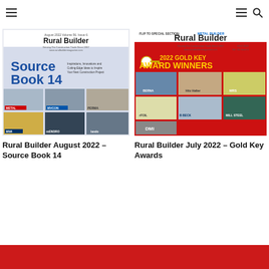Navigation bar with hamburger menus and search icon
[Figure (illustration): Rural Builder August 2022 – Source Book 14 magazine cover showing building photos and logos]
Rural Builder August 2022 – Source Book 14
[Figure (illustration): Rural Builder July 2022 – Gold Key Awards magazine cover with red background and award winner photos]
Rural Builder July 2022 – Gold Key Awards
[Figure (illustration): Red banner at the bottom of the page]